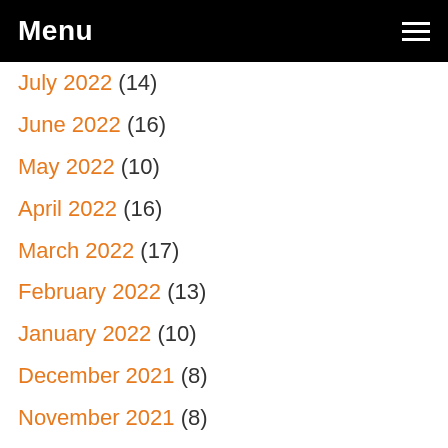Menu
July 2022 (14)
June 2022 (16)
May 2022 (10)
April 2022 (16)
March 2022 (17)
February 2022 (13)
January 2022 (10)
December 2021 (8)
November 2021 (8)
October 2021 (19)
September 2021 (13)
August 2021 (3)
July 2021 (6)
June 2021 (3)
May 2021 (6)